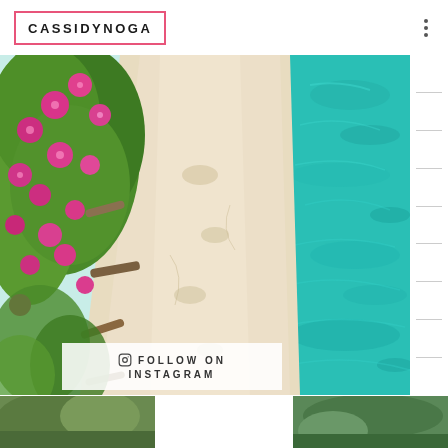CASSIDYNOGA
[Figure (photo): Aerial/overhead view of a sandy beach path with pink flowering bushes and driftwood logs on the left side, and turquoise blue water on the right side]
FOLLOW ON INSTAGRAM